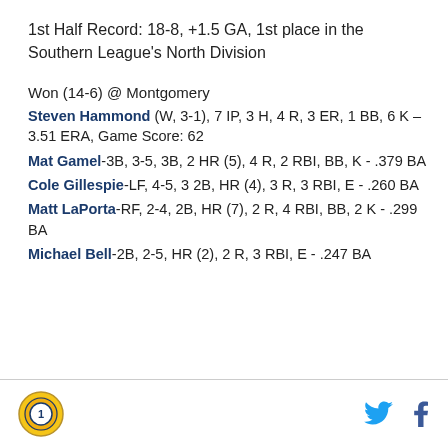1st Half Record: 18-8, +1.5 GA, 1st place in the Southern League's North Division
Won (14-6) @ Montgomery
Steven Hammond (W, 3-1), 7 IP, 3 H, 4 R, 3 ER, 1 BB, 6 K – 3.51 ERA, Game Score: 62
Mat Gamel-3B, 3-5, 3B, 2 HR (5), 4 R, 2 RBI, BB, K - .379 BA
Cole Gillespie-LF, 4-5, 3 2B, HR (4), 3 R, 3 RBI, E - .260 BA
Matt LaPorta-RF, 2-4, 2B, HR (7), 2 R, 4 RBI, BB, 2 K - .299 BA
Michael Bell-2B, 2-5, HR (2), 2 R, 3 RBI, E - .247 BA
Logo and social icons